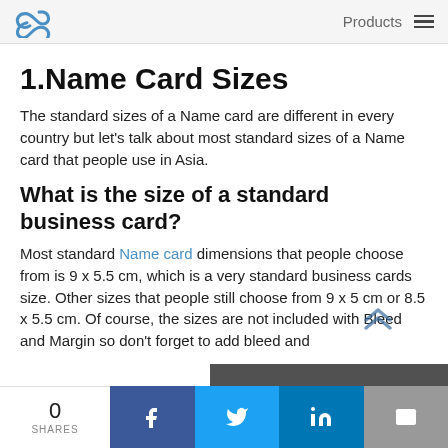Products
1.Name Card Sizes
The standard sizes of a Name card are different in every country but let's talk about most standard sizes of a Name card that people use in Asia.
What is the size of a standard business card?
Most standard Name card dimensions that people choose from is 9 x 5.5 cm, which is a very standard business cards size. Other sizes that people still choose from 9 x 5 cm or 8.5 x 5.5 cm. Of course, the sizes are not included with Bleed and Margin so don't forget to add bleed and…
0 SHARES